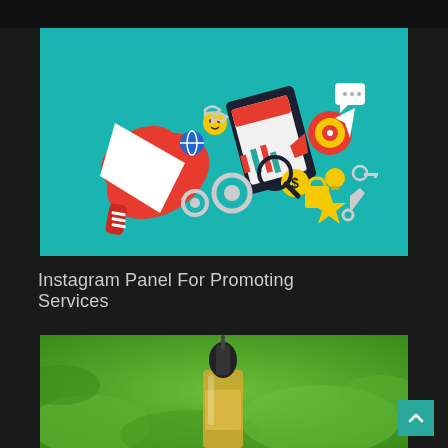[Figure (illustration): Digital marketing illustration: red megaphone on teal background with various social media and marketing icons floating around it including gears, smartphone with charts, target, star, lightbulb, dollar sign, and shopping bag]
Instagram Panel For Promoting Services
[Figure (photo): Close-up photo of a dropper bottle with yellow liquid against a blurred green leafy background]